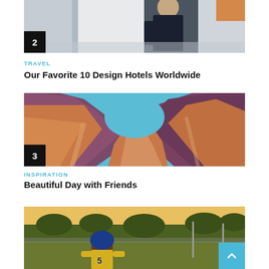[Figure (photo): Person in dark business attire walking through a modern interior space, numbered badge 2 in lower-left corner]
TRAVEL
Our Favorite 10 Design Hotels Worldwide
[Figure (photo): Canyon rock formations with orange and purple swirling stone walls and blue sky visible above, numbered badge 3 in lower-left corner]
INSPIRATION
Beautiful Day with Friends
[Figure (photo): Football player in yellow and blue jersey on a field at golden hour, partially cropped]